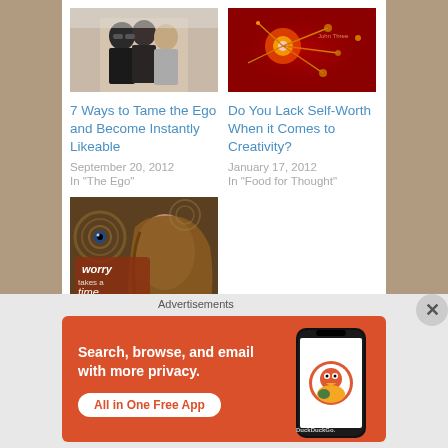[Figure (photo): Photo of three people smiling together outdoors]
7 Ways to Tame the Ego and Become Instantly Likeable
September 20, 2012
In "The Ego"
[Figure (photo): Abstract red and gold glowing orbs/stars on dark background]
Do You Lack Self-Worth When it Comes to Creativity?
January 17, 2012
In "Food for Thought"
[Figure (photo): Artistic illustration of a woman's face with swirls and text saying 'worry takes a time']
5 Tools to Stop You Worrying
January 30, 2019
In "Dealing with
Advertisements
[Figure (photo): DuckDuckGo advertisement banner with orange background showing phone and text: Search, browse, and email with more privacy. All in One Free App. DuckDuckGo.]